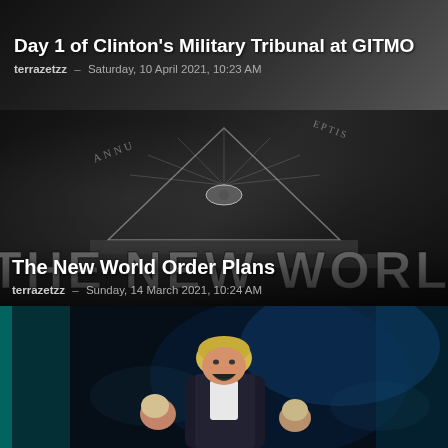Day 1 of Clinton's Military Tribunal at GITMO
terrazetzz – Saturday, 10 April 2021, 10:23 AM
[Figure (photo): Close-up of US dollar bill showing illuminati pyramid with all-seeing eye and text 'THE NEW WORLD ORDER' in large 3D letters overlaid]
The New World Order Plans
terrazetzz – Sunday, 14 March 2021, 10:24 AM
[Figure (photo): Dark manipulated image showing a man with blonde hair (Boris Johnson) laughing while holding two babies, set against a dark blue smoky background]